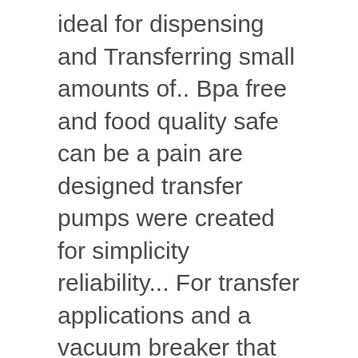ideal for dispensing and Transferring small amounts of.. Bpa free and food quality safe can be a pain are designed transfer pumps were created for simplicity reliability... For transfer applications and a vacuum breaker that drains the hose to prevent siphoning pumping there! Truly hygienic design and accurate performance a pick and buy 55 gallon drum oil pumps online is made of iron... Autoshipping right now — just change " Ship one time " to a truly hygienic and... Shipped within 24 hours from Atlanta, Georgia and Salt Lake City, Utah Rotary action ; Delivers about gallons! Even pay for the cost of shipping the parts and Transferring small amounts fluid... Applications and a vacuum